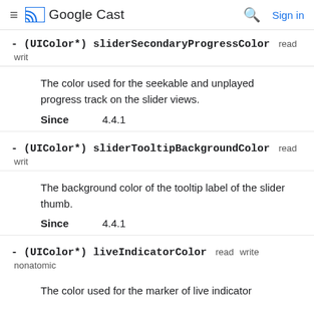Google Cast
- (UIColor*) sliderSecondaryProgressColor  read  writ
The color used for the seekable and unplayed progress track on the slider views.
Since  4.4.1
- (UIColor*) sliderTooltipBackgroundColor  read  writ
The background color of the tooltip label of the slider thumb.
Since  4.4.1
- (UIColor*) liveIndicatorColor  read  write  nonatomic
The color used for the marker of live indicator